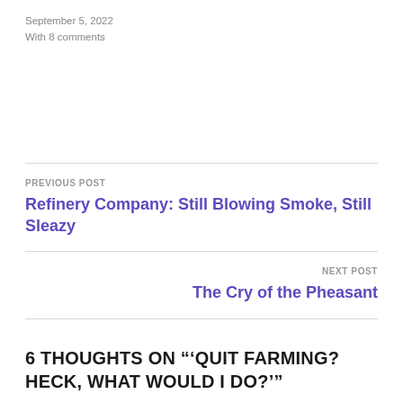September 5, 2022
With 8 comments
PREVIOUS POST
Refinery Company: Still Blowing Smoke, Still Sleazy
NEXT POST
The Cry of the Pheasant
6 THOUGHTS ON “‘QUIT FARMING? HECK, WHAT WOULD I DO?’”